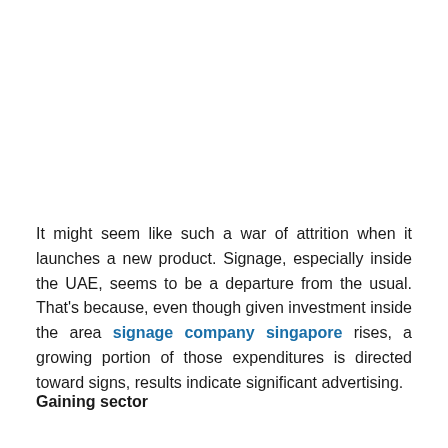It might seem like such a war of attrition when it launches a new product. Signage, especially inside the UAE, seems to be a departure from the usual. That's because, even though given investment inside the area signage company singapore rises, a growing portion of those expenditures is directed toward signs, results indicate significant advertising.
Gaining sector